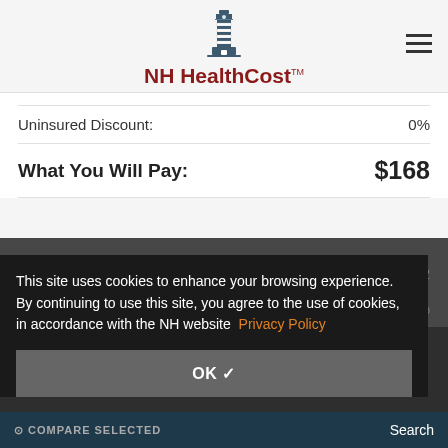NH HealthCost
Uninsured Discount: 0%
What You Will Pay: $168
Estimate of Procedure Cost: $172
Uninsured Discount: 0%
This site uses cookies to enhance your browsing experience. By continuing to use this site, you agree to the use of cookies, in accordance with the NH website Privacy Policy
OK ✓
COMPARE SELECTED
Search